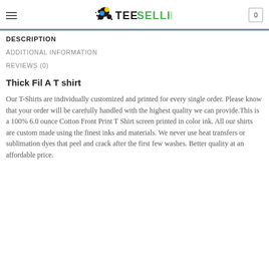TeeSelling
DESCRIPTION
ADDITIONAL INFORMATION
REVIEWS (0)
Thick Fil A T shirt
Our T-Shirts are individually customized and printed for every single order. Please know that your order will be carefully handled with the highest quality we can provide.This is a 100% 6.0 ounce Cotton Front Print T Shirt screen printed in color ink. All our shirts are custom made using the finest inks and materials. We never use heat transfers or sublimation dyes that peel and crack after the first few washes. Better quality at an affordable price.